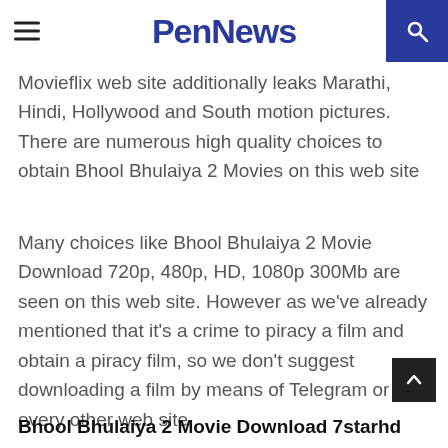PenNews
Movieflix web site additionally leaks Marathi, Hindi, Hollywood and South motion pictures. There are numerous high quality choices to obtain Bhool Bhulaiya 2 Movies on this web site
Many choices like Bhool Bhulaiya 2 Movie Download 720p, 480p, HD, 1080p 300Mb are seen on this web site. However as we've already mentioned that it's a crime to piracy a film and obtain a piracy film, so we don't suggest downloading a film by means of Telegram or every other web site.
Bhool Bhulaiya 2 Movie Download 7starhd